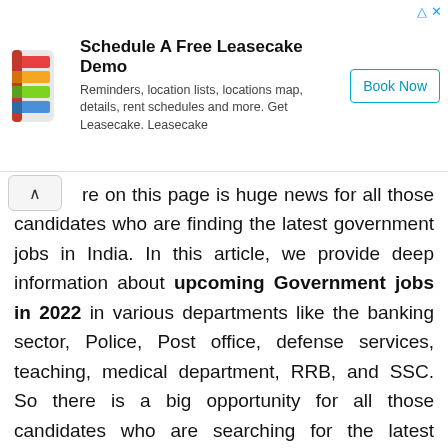[Figure (other): Advertisement banner for Leasecake with logo, title 'Schedule A Free Leasecake Demo', description text, and 'Book Now' button]
re on this page is huge news for all those candidates who are finding the latest government jobs in India. In this article, we provide deep information about upcoming Government jobs in 2022 in various departments like the banking sector, Police, Post office, defense services, teaching, medical department, RRB, and SSC. So there is a big opportunity for all those candidates who are searching for the latest government job. In this upcoming, year all Indian govt departments release lots of government jobs opportunity in various fields like RRB, SSC, Banking, Police, and Post Office every year. So we advise all those candidates